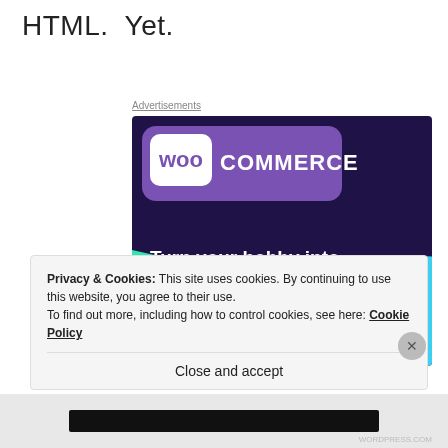HTML.  Yet.
Advertisements
[Figure (illustration): WooCommerce advertisement banner with dark purple background, green triangle shape on left, cyan circle on right, WooCommerce logo at top, text 'Turn your hobby into a business in 8 steps', and a white 'Start a new store' button at bottom.]
Privacy & Cookies: This site uses cookies. By continuing to use this website, you agree to their use.
To find out more, including how to control cookies, see here: Cookie Policy
Close and accept